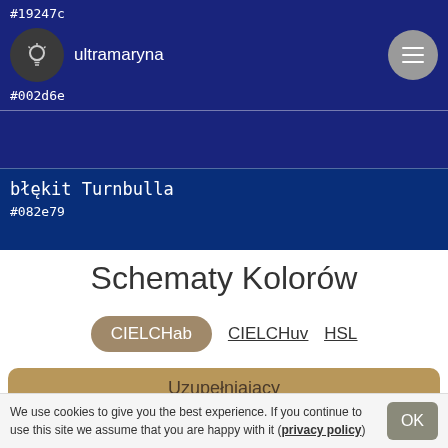#19247c ultramaryna #002d6e
błękit Turnbulla #082e79
Schematy Kolorów
CIELCHab  CIELCHuv  HSL
Uzupełniający
#4a9dd3
Analogiczny
We use cookies to give you the best experience. If you continue to use this site we assume that you are happy with it (privacy policy)